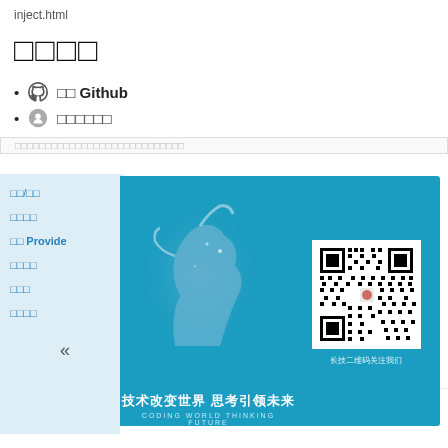inject.html
□□□□
□□ Github
□□□□□□
□□□□□□□□□□□□□□□□□□□□□□□□□□□□
[Figure (screenshot): Sidebar navigation with items: □□/□□, □□□□, □□ Provide, □□□□, □□□, □□□□ and a collapse arrow. Main content area shows a banner with a horse graphic, Chinese text '技术改变世界 思考引领未来', 'CODING WORLD THINKING FUTURE', and a QR code with label '长技二维码关注我们'.]
< VUE3-35-Setup    VUE3-37-□□□ API □□□□ >